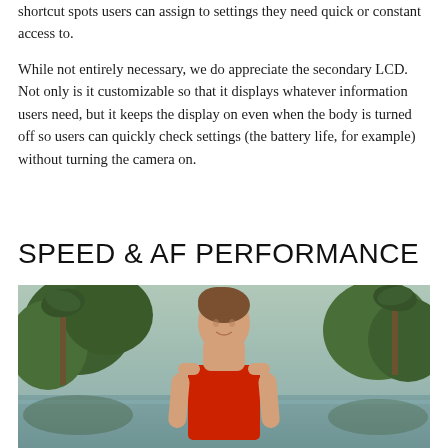shortcut spots users can assign to settings they need quick or constant access to.
While not entirely necessary, we do appreciate the secondary LCD. Not only is it customizable so that it displays whatever information users need, but it keeps the display on even when the body is turned off so users can quickly check settings (the battery life, for example) without turning the camera on.
SPEED & AF PERFORMANCE
[Figure (photo): A young woman in a red strapless top smiling outdoors with palm trees and a body of water in the background.]